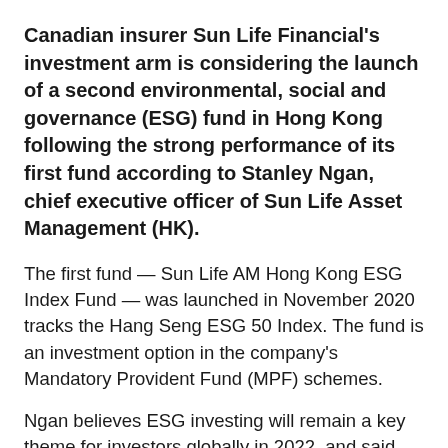Canadian insurer Sun Life Financial's investment arm is considering the launch of a second environmental, social and governance (ESG) fund in Hong Kong following the strong performance of its first fund according to Stanley Ngan, chief executive officer of Sun Life Asset Management (HK).
The first fund — Sun Life AM Hong Kong ESG Index Fund — was launched in November 2020 tracks the Hang Seng ESG 50 Index. The fund is an investment option in the company's Mandatory Provident Fund (MPF) schemes.
Ngan believes ESG investing will remain a key theme for investors globally in 2022, and said that his company is exploring the feasibility of launching another ESG fund in Hong Kong this year. Sun Life Asset Management is the